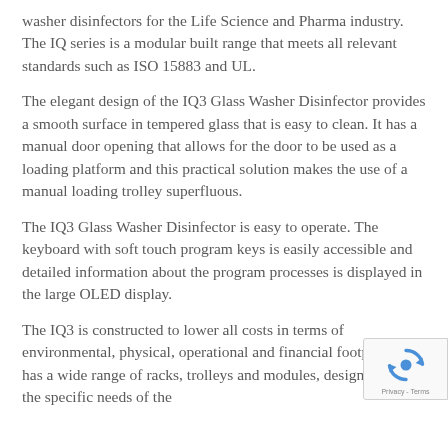washer disinfectors for the Life Science and Pharma industry.  The IQ series is a modular built range that meets all relevant standards such as ISO 15883 and UL.
The elegant design of the IQ3 Glass Washer Disinfector provides a smooth surface in tempered glass that is easy to clean. It has a manual door opening that allows for the door to be used as a loading platform and this practical solution makes the use of a manual loading trolley superfluous.
The IQ3 Glass Washer Disinfector is easy to operate. The keyboard with soft touch program keys is easily accessible and detailed information about the program processes is displayed in the large OLED display.
The IQ3 is constructed to lower all costs in terms of environmental, physical, operational and financial footprint.  It has a wide range of racks, trolleys and modules, designed to suit the specific needs of the